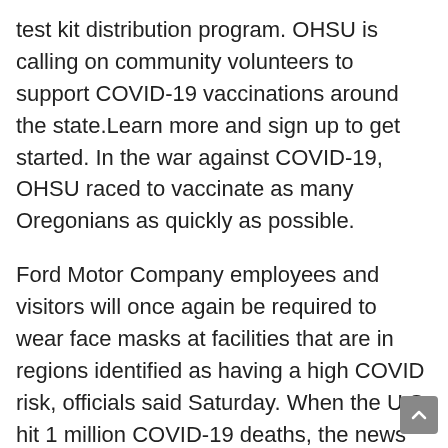test kit distribution program. OHSU is calling on community volunteers to support COVID-19 vaccinations around the state.Learn more and sign up to get started. In the war against COVID-19, OHSU raced to vaccinate as many Oregonians as quickly as possible.
Ford Motor Company employees and visitors will once again be required to wear face masks at facilities that are in regions identified as having a high COVID risk, officials said Saturday. When the U.S. hit 1 million COVID-19 deaths, the news was driven by a government tally derived from death certificates. A handful of U.S. hospitals are facing a financial crisis that officials say was caused by the federal government's rules for pandemic relief money. Detroit officials are recommending everyone wear masks indoors now that the city is categorized as having a “high” rate of COVID infection. Michigan has